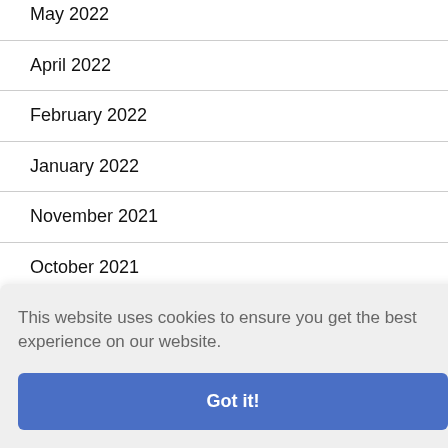May 2022
April 2022
February 2022
January 2022
November 2021
October 2021
September 2021
August 2021
This website uses cookies to ensure you get the best experience on our website.
Got it!